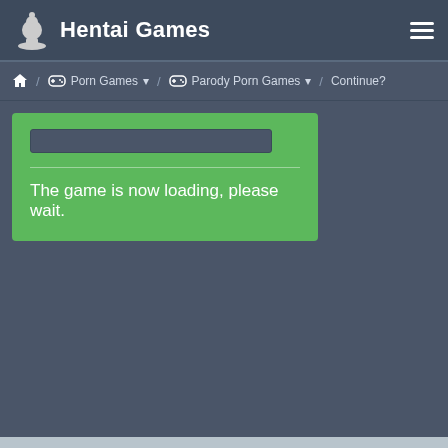Hentai Games
Home / Porn Games / Parody Porn Games / Continue?
[Figure (screenshot): Loading box with progress bar and 'The game is now loading, please wait.' text on green background]
Continue?
[Figure (screenshot): Two icon buttons (thumbs up, thumbs down or similar) and a fullscreen expand button]